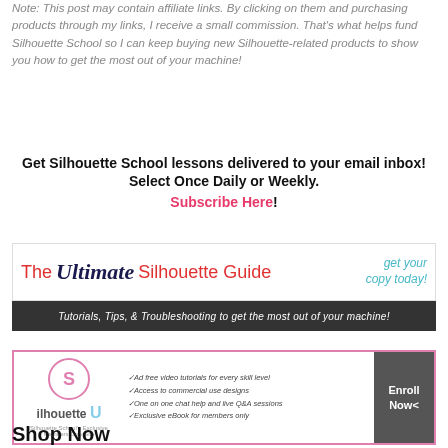Note: This post may contain affiliate links. By clicking on them and purchasing products through my links, I receive a small commission. That's what helps fund Silhouette School so I can keep buying new Silhouette-related products to show you how to get the most out of your machine!
Get Silhouette School lessons delivered to your email inbox! Select Once Daily or Weekly. Subscribe Here!
[Figure (illustration): The Ultimate Silhouette Guide banner ad with red and navy title text, teal 'get your copy today!' text, and dark subtitle bar reading: Tutorials, Tips, & Troubleshooting to get the most out of your machine!]
[Figure (illustration): Silhouette U banner ad with pink border, S logo in circle, name with light blue U letter, features list including ad-free video tutorials, commercial use designs, chat help, exclusive eBook, and dark Enroll Now button on right]
Shop Now